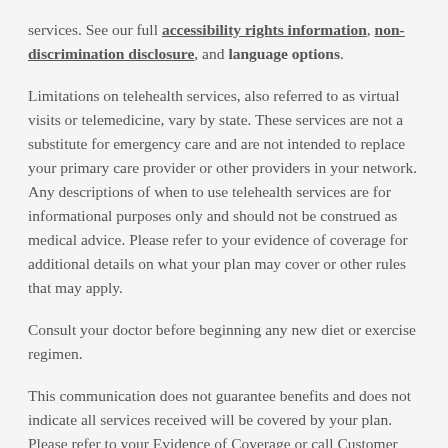services. See our full accessibility rights information, non-discrimination disclosure, and language options.
Limitations on telehealth services, also referred to as virtual visits or telemedicine, vary by state. These services are not a substitute for emergency care and are not intended to replace your primary care provider or other providers in your network. Any descriptions of when to use telehealth services are for informational purposes only and should not be construed as medical advice. Please refer to your evidence of coverage for additional details on what your plan may cover or other rules that may apply.
Consult your doctor before beginning any new diet or exercise regimen.
This communication does not guarantee benefits and does not indicate all services received will be covered by your plan. Please refer to your Evidence of Coverage or call Customer Service at the number on the back of your Humana ID card to confirm that the service will be covered